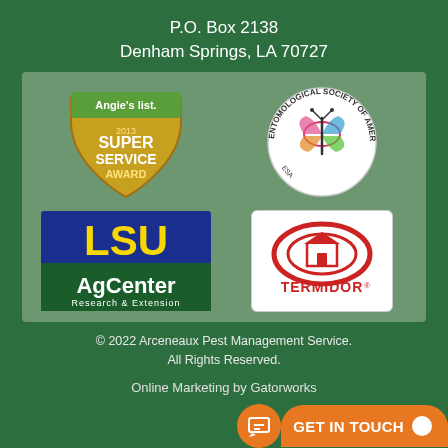P.O. Box 2138
Denham Springs, LA 70727
[Figure (logo): Angie's List 2013 Super Service Award badge (gold shield with green Angie's List banner at top)]
[Figure (logo): Entomological Society of America circular logo with colorful butterfly/moth design]
[Figure (logo): LSU AgCenter Research & Extension logo - blue and gold LSU text above green AgCenter banner]
[Figure (logo): Termidor logo - red oval house icon above TERMIDOR text on white background]
© 2022 Arceneaux Pest Management Service. All Rights Reserved.
Online Marketing by Gatorworks
GET IN TOUCH